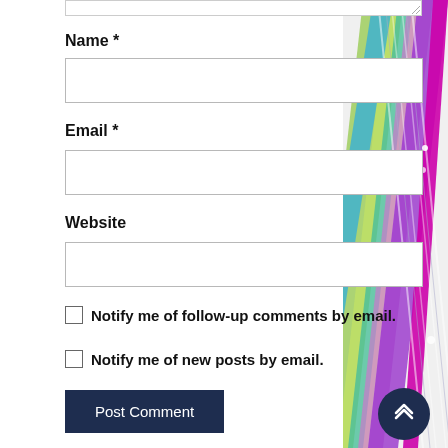[Figure (illustration): Colorful diagonal rainbow stripes decorative background on right side of page]
Name *
Email *
Website
Notify me of follow-up comments by email.
Notify me of new posts by email.
Post Comment